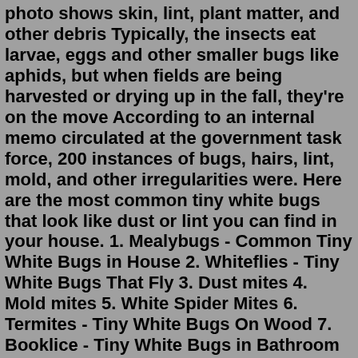photo shows skin, lint, plant matter, and other debris Typically, the insects eat larvae, eggs and other smaller bugs like aphids, but when fields are being harvested or drying up in the fall, they're on the move According to an internal memo circulated at the government task force, 200 instances of bugs, hairs, lint, mold, and other irregularities were. Here are the most common tiny white bugs that look like dust or lint you can find in your house. 1. Mealybugs - Common Tiny White Bugs in House 2. Whiteflies - Tiny White Bugs That Fly 3. Dust mites 4. Mold mites 5. White Spider Mites 6. Termites - Tiny White Bugs On Wood 7. Booklice - Tiny White Bugs in Bathroom 8.Our pest identifier is a list of bugs,insects, rodents, and other pests that does just that. Below is a list of six steps to effectively identify pests using our rodent, arachnid and insect identification guides. SIX STEPS. 1. Magnify Bug. Make note of certain characteristics of the pest, including shape, size, color, number of legs, and ... Copy. The best way to get rid of lint bugs is to clean the areas where you see them. Bleach